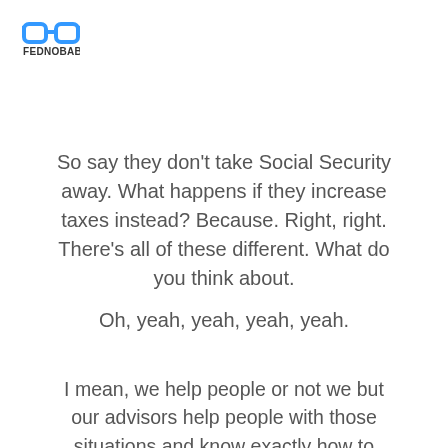[Figure (logo): FednoBabble logo: blue glasses icon above the text FEDNOBABBLE in bold black capitals]
So say they don't take Social Security away. What happens if they increase taxes instead? Because. Right, right. There's all of these different. What do you think about.
Oh, yeah, yeah, yeah, yeah.
I mean, we help people or not we but our advisors help people with those situations and know exactly how to counteract those what if scenarios and make sure that you're set up. So no matter what happens, you're still set to